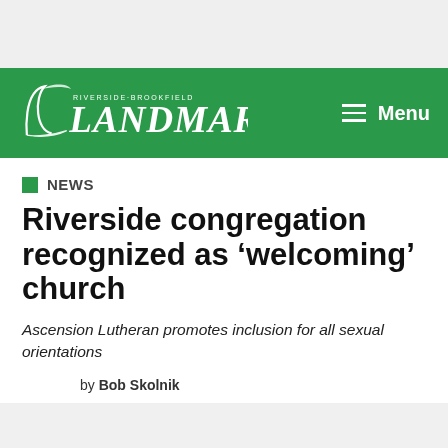Riverside-Brookfield Landmark — Menu
NEWS
Riverside congregation recognized as 'welcoming' church
Ascension Lutheran promotes inclusion for all sexual orientations
by Bob Skolnik